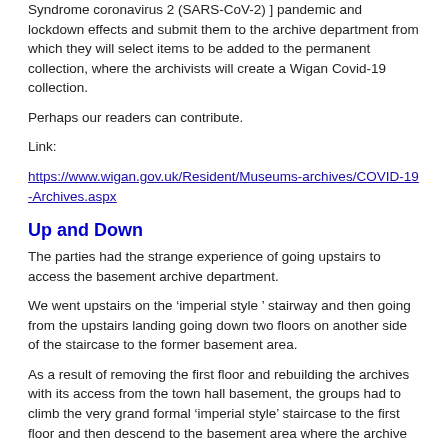Syndrome coronavirus 2 (SARS-CoV-2) ] pandemic and lockdown effects and submit them to the archive department from which they will select items to be added to the permanent collection, where the archivists will create a Wigan Covid-19 collection.
Perhaps our readers can contribute.
Link:
https://www.wigan.gov.uk/Resident/Museums-archives/COVID-19-Archives.aspx
Up and Down
The parties had the strange experience of going upstairs to access the basement archive department.
We went upstairs on the ‘imperial style ’ stairway and then going from the upstairs landing going down two floors on another side of the staircase to the former basement area.
As a result of removing the first floor and rebuilding the archives with its access from the town hall basement, the groups had to climb the very grand formal ‘imperial style’ staircase to the first floor and then descend to the basement area where the archive storage rooms and workspace are located.